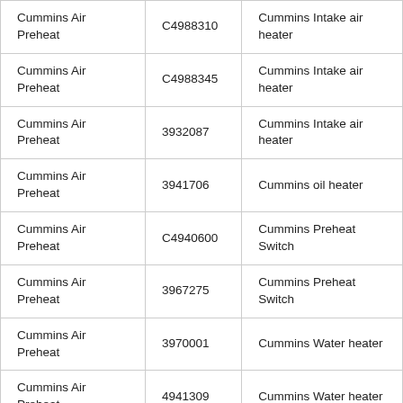| Cummins Air Preheat | C4988310 | Cummins Intake air heater |
| Cummins Air Preheat | C4988345 | Cummins Intake air heater |
| Cummins Air Preheat | 3932087 | Cummins Intake air heater |
| Cummins Air Preheat | 3941706 | Cummins oil heater |
| Cummins Air Preheat | C4940600 | Cummins Preheat Switch |
| Cummins Air Preheat | 3967275 | Cummins Preheat Switch |
| Cummins Air Preheat | 3970001 | Cummins Water heater |
| Cummins Air Preheat | 4941309 | Cummins Water heater |
| Cummins Air Preheat | A3960564 | Cummins Water heater |
| Cummins Air Preheat | C3960569 |  |